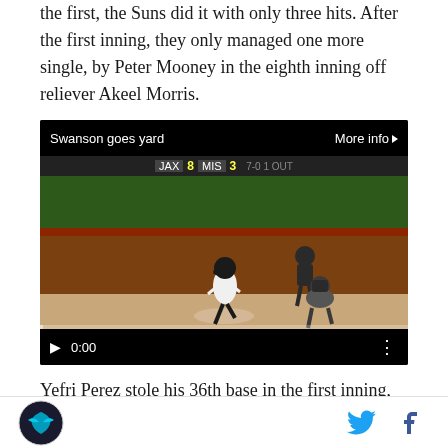the first, the Suns did it with only three hits. After the first inning, they only managed one more single, by Peter Mooney in the eighth inning off reliever Akeel Morris.
[Figure (screenshot): Video player showing baseball game footage with title 'Swanson goes yard'. Score bar shows JAX 8, MIS 3. Time code shows 0:00. Player rounding home plate with umpires visible.]
Yefri Perez stole his 36th base in the first inning, and